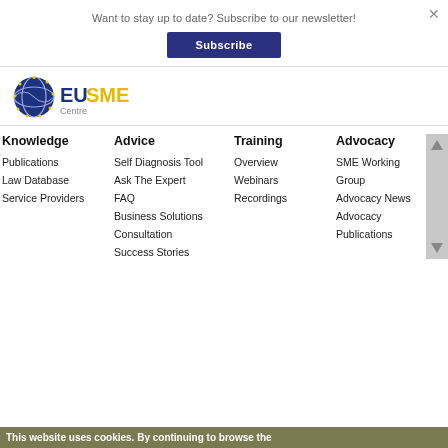Want to stay up to date? Subscribe to our newsletter!
Subscribe
[Figure (logo): EU SME Centre logo with circular globe icon and blue/yellow text]
Knowledge
Publications
Law Database
Service Providers
Advice
Self Diagnosis Tool
Ask The Expert
FAQ
Business Solutions
Consultation
Success Stories
Training
Overview
Webinars
Recordings
Advocacy
SME Working Group
Advocacy News
Advocacy Publications
This website uses cookies. By continuing to browse the